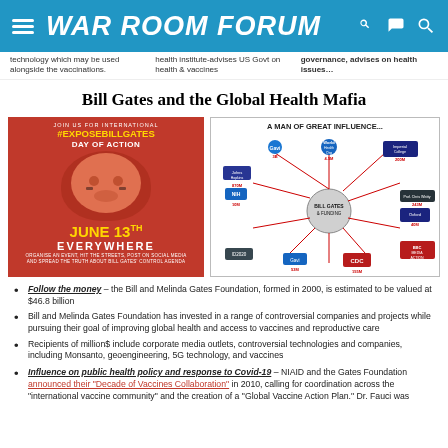WAR ROOM FORUM
technology which may be used alongside the vaccinations.
health institute-advises US Govt on health & vaccines
governance, advises on health issues…
Bill Gates and the Global Health Mafia
[Figure (infographic): Red poster: JOIN US FOR INTERNATIONAL #EXPOSEBILLGATES DAY OF ACTION JUNE 13TH EVERYWHERE ORGANISE AN EVENT, HIT THE STREETS, POST ON SOCIAL MEDIA AND SPREAD THE TRUTH ABOUT BILL GATES CONTROL AGENDA]
[Figure (infographic): A MAN OF GREAT INFLUENCE... Infographic showing Bill Gates and Funder connections to WHO, Gavi, Imperial College London, Johns Hopkins, NIH, Microsoft, CDC, ID2020, BBC Media Action, Oxford University, and Prof. Chris Witty with dollar amounts: 3 BILLION, 4.5 MILLION, 200 MILLION, 870 MILLION, 243 MILLION, 10 MILLION, 40 MILLION, 155 MILLION, 53 MILLION]
Follow the money – the Bill and Melinda Gates Foundation, formed in 2000, is estimated to be valued at $46.8 billion
Bill and Melinda Gates Foundation has invested in a range of controversial companies and projects while pursuing their goal of improving global health and access to vaccines and reproductive care
Recipients of millions include corporate media outlets, controversial technologies and companies, including Monsanto, geoengineering, 5G technology, and vaccines
Influence on public health policy and response to Covid-19 – NIAID and the Gates Foundation announced their "Decade of Vaccines Collaboration" in 2010, calling for coordination across the "international vaccine community" and the creation of a "Global Vaccine Action Plan." Dr. Fauci was